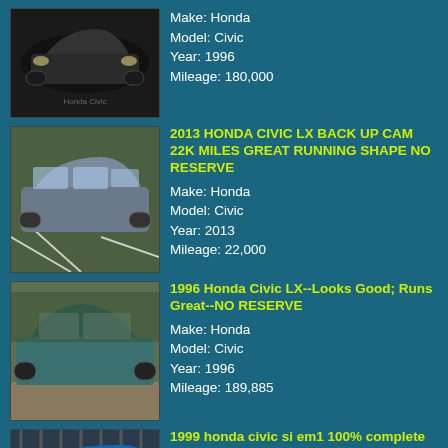[Figure (photo): Black Honda Civic, front view, dark background]
Make: Honda
Model: Civic
Year: 1996
Mileage: 180,000
[Figure (photo): Grey Honda Civic in parking lot, 2013]
2013 HONDA CIVIC LX BACK UP CAM 22K MILES GREAT RUNNING SHAPE NO RESERVE
Make: Honda
Model: Civic
Year: 2013
Mileage: 22,000
[Figure (photo): Teal/green 1996 Honda Civic LX side view on gravel]
1996 Honda Civic LX--Looks Good; Runs Great--NO RESERVE
Make: Honda
Model: Civic
Year: 1996
Mileage: 189,885
[Figure (photo): Blue 1999 Honda Civic SI EM1, partial view]
1999 honda civic si em1 100% complete and stock rare find here clear title
Make: Honda
Model: Civic